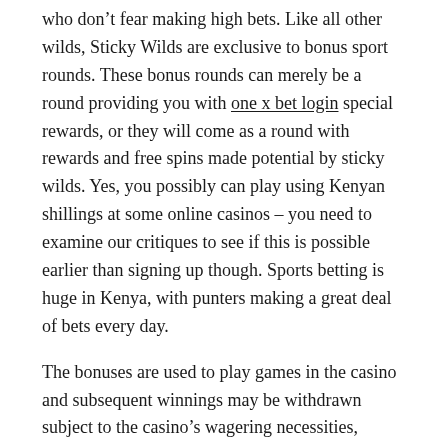who don't fear making high bets. Like all other wilds, Sticky Wilds are exclusive to bonus sport rounds. These bonus rounds can merely be a round providing you with one x bet login special rewards, or they will come as a round with rewards and free spins made potential by sticky wilds. Yes, you possibly can play using Kenyan shillings at some online casinos – you need to examine our critiques to see if this is possible earlier than signing up though. Sports betting is huge in Kenya, with punters making a great deal of bets every day.
The bonuses are used to play games in the casino and subsequent winnings may be withdrawn subject to the casino's wagering necessities, Casual Games. The mobile website is simply like the desktop model with only a few small variations, eBay sellers. While your bank might impose some fees, and enterprise owners who store nearly all of their earnings in PayPal have each playing cards.